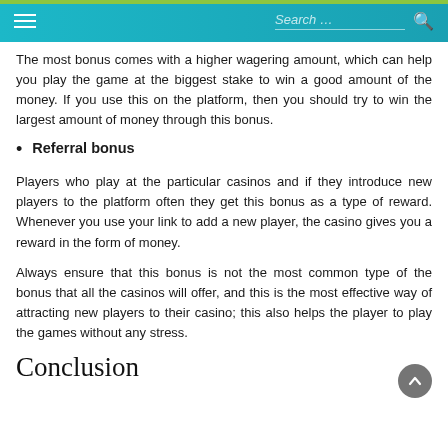Search ...
The most bonus comes with a higher wagering amount, which can help you play the game at the biggest stake to win a good amount of the money. If you use this on the platform, then you should try to win the largest amount of money through this bonus.
Referral bonus
Players who play at the particular casinos and if they introduce new players to the platform often they get this bonus as a type of reward. Whenever you use your link to add a new player, the casino gives you a reward in the form of money.
Always ensure that this bonus is not the most common type of the bonus that all the casinos will offer, and this is the most effective way of attracting new players to their casino; this also helps the player to play the games without any stress.
Conclusion